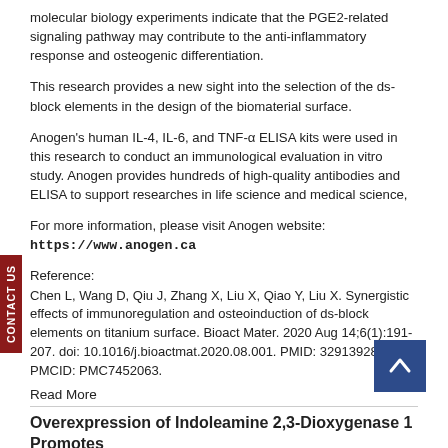molecular biology experiments indicate that the PGE2-related signaling pathway may contribute to the anti-inflammatory response and osteogenic differentiation.
This research provides a new sight into the selection of the ds-block elements in the design of the biomaterial surface.
Anogen's human IL-4, IL-6, and TNF-α ELISA kits were used in this research to conduct an immunological evaluation in vitro study. Anogen provides hundreds of high-quality antibodies and ELISA to support researches in life science and medical science,
For more information, please visit Anogen website:  https://www.anogen.ca
Reference:
Chen L, Wang D, Qiu J, Zhang X, Liu X, Qiao Y, Liu X. Synergistic effects of immunoregulation and osteoinduction of ds-block elements on titanium surface. Bioact Mater. 2020 Aug 14;6(1):191-207. doi: 10.1016/j.bioactmat.2020.08.001. PMID: 32913928; PMCID: PMC7452063.
Read More
Overexpression of Indoleamine 2,3-Dioxygenase 1 Promotes